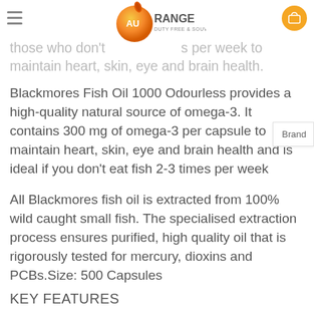AU Range - Duty Free & Souvenirs (logo)
Blackmores Fish Oil 1000 Odourless provides a high-quality natural source of omega-3, ideal for those who don't eat fish 2-3 times per week to maintain heart, skin, eye and brain health.
Blackmores Fish Oil 1000 Odourless provides a high-quality natural source of omega-3. It contains 300 mg of omega-3 per capsule to maintain heart, skin, eye and brain health and is ideal if you don't eat fish 2-3 times per week
All Blackmores fish oil is extracted from 100% wild caught small fish. The specialised extraction process ensures purified, high quality oil that is rigorously tested for mercury, dioxins and PCBs.Size: 500 Capsules
KEY FEATURES